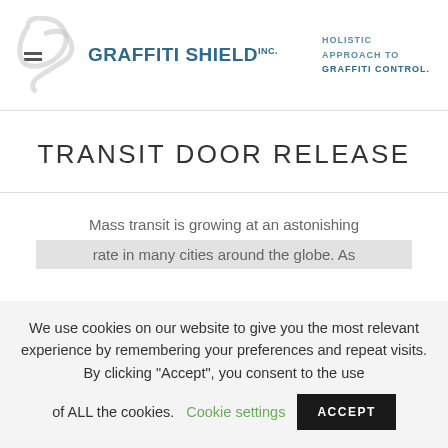[Figure (logo): Graffiti Shield Inc. logo with GS monogram icon and tagline: HOLISTIC APPROACH TO GRAFFITI CONTROL.]
TRANSIT DOOR RELEASE
Mass transit is growing at an astonishing rate in many cities around the globe. As
We use cookies on our website to give you the most relevant experience by remembering your preferences and repeat visits. By clicking "Accept", you consent to the use of ALL the cookies. Cookie settings ACCEPT